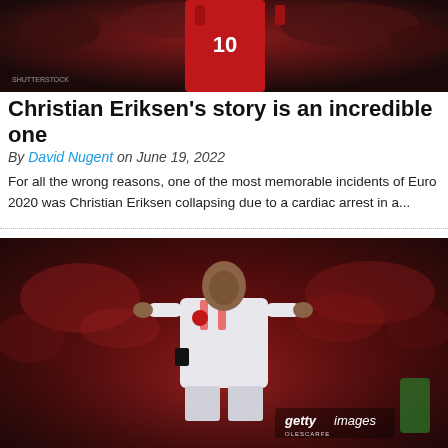[Figure (photo): A footballer wearing a red jersey with number 10, photographed from behind against a blurred crowd background. Image has a watermark text in the bottom left corner.]
Christian Eriksen's story is an incredible one
By David Nugent on June 19, 2022
For all the wrong reasons, one of the most memorable incidents of Euro 2020 was Christian Eriksen collapsing due to a cardiac arrest in a...
[Figure (photo): A footballer in a white/light grey Manchester United away kit standing on the pitch, looking upward. The background shows a blurred crowd in red. A Getty Images watermark is visible in the lower right corner.]